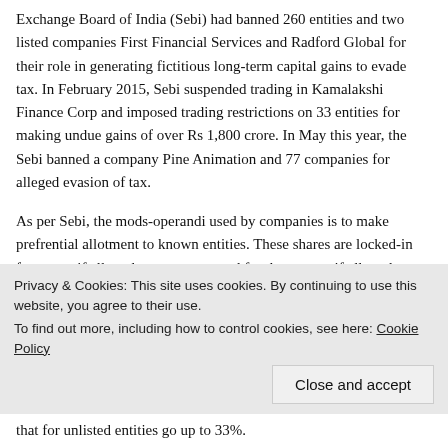Exchange Board of India (Sebi) had banned 260 entities and two listed companies First Financial Services and Radford Global for their role in generating fictitious long-term capital gains to evade tax. In February 2015, Sebi suspended trading in Kamalakshi Finance Corp and imposed trading restrictions on 33 entities for making undue gains of over Rs 1,800 crore. In May this year, the Sebi banned a company Pine Animation and 77 companies for alleged evasion of tax.
As per Sebi, the mods-operandi used by companies is to make prefrential allotment to known entities. These shares are locked-in for a year if allotted to promoters and for three years if allotted to non promoters and often allotments are also made to ‘benami’ entities who are closely linked to promoters but are not classified as such. The stock prices moves upward in the next one year and then these
Privacy & Cookies: This site uses cookies. By continuing to use this website, you agree to their use.
To find out more, including how to control cookies, see here: Cookie Policy
that for unlisted entities go up to 33%.